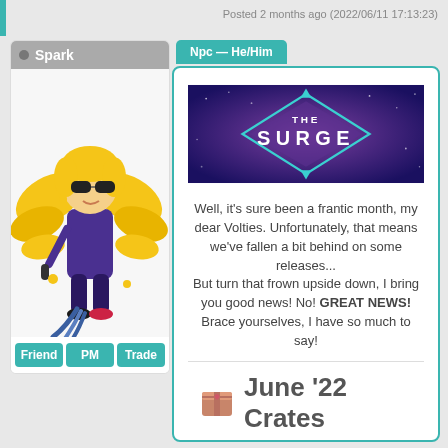Posted 2 months ago (2022/06/11 17:13:23)
Spark
Npc — He/Him
[Figure (illustration): Cartoon character with golden wings wearing sunglasses and a purple suit, holding a microphone]
Friend  PM  Trade
[Figure (illustration): The Surge banner - purple/blue galaxy background with diamond shape and text reading THE SURGE]
Well, it's sure been a frantic month, my dear Volties. Unfortunately, that means we've fallen a bit behind on some releases...
But turn that frown upside down, I bring you good news! No! GREAT NEWS!
Brace yourselves, I have so much to say!
June '22 Crates